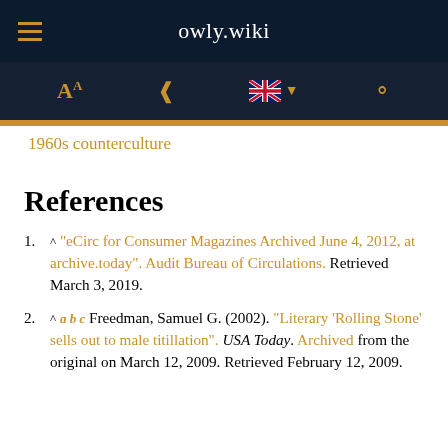owly.wiki
1960s counterculture
References
^ "eCirc for Consumer Magazines Archived June 4, 2012, at archive.today". Audit Bureau of Circulations. Retrieved March 3, 2019.
^ a b c Freedman, Samuel G. (2002). "Literary 'Rolling Stone' sells out to male titillation". USA Today. Archived from the original on March 12, 2009. Retrieved February 12, 2009.